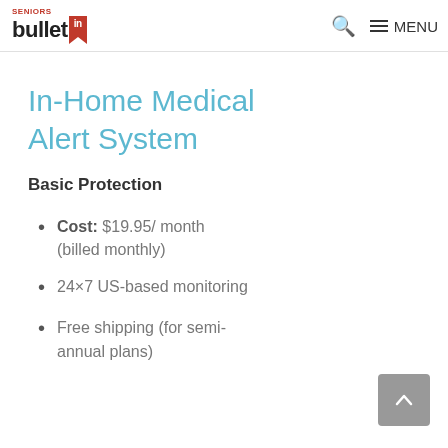SENIORS bulletin — search and menu navigation
In-Home Medical Alert System
Basic Protection
Cost: $19.95/ month (billed monthly)
24×7 US-based monitoring
Free shipping (for semi-annual plans)